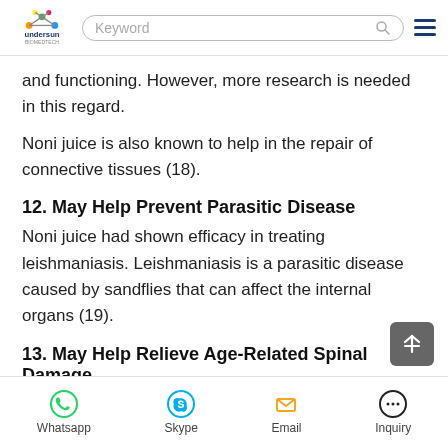Undersun Biomedtech - Keyword search bar and navigation
and functioning. However, more research is needed in this regard.
Noni juice is also known to help in the repair of connective tissues (18).
12. May Help Prevent Parasitic Disease
Noni juice had shown efficacy in treating leishmaniasis. Leishmaniasis is a parasitic disease caused by sandflies that can affect the internal organs (19).
13. May Help Relieve Age-Related Spinal Damage
Certain sources state that noni can help improve the
Whatsapp  Skype  Email  Inquiry